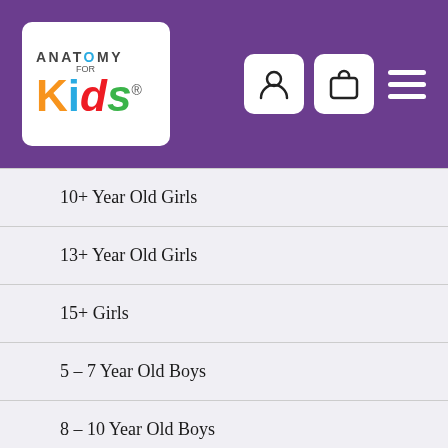[Figure (logo): Anatomy for Kids logo — white rounded rectangle with orange K, blue i, red italic d, green italic s, and ANATOMY text above]
10+ Year Old Girls
13+ Year Old Girls
15+ Girls
5 – 7 Year Old Boys
8 – 10 Year Old Boys
11+ Year Old Boys
13+ Year Old Boys
15+ Boys